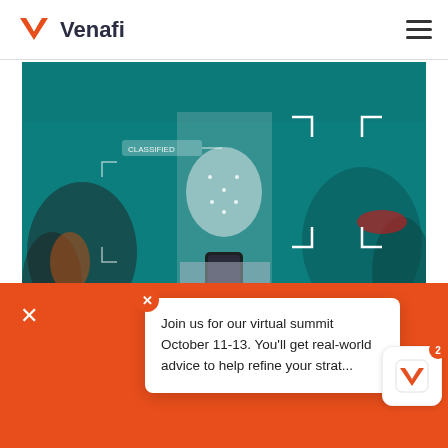Venafi
[Figure (photo): Woman walking in a crowd looking at her smartphone, overlaid with facial recognition tracking graphics and UI elements on a teal-tinted background]
The S... better e... to us... br... Find ou...
Join us for our virtual summit October 11-13. You'll get real-world advice to help refine your strat...